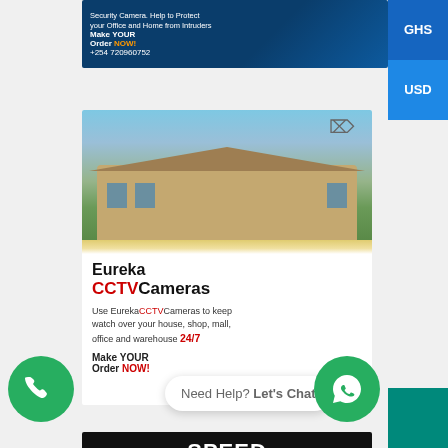[Figure (advertisement): Partial top banner ad for security cameras on dark blue background with text 'Security Camera. Help to Protect your Office and Home from Intruders. Make YOUR Order NOW! +254 720960752']
[Figure (advertisement): Eureka CCTV Cameras ad showing a large house with drone overhead, text: 'Eureka CCTV Cameras. Use Eureka CCTV Cameras to keep watch over your house, shop, mall, office and warehouse 24/7. Make YOUR Order NOW!']
[Figure (advertisement): Speed Governors ad with black background showing 'SPEED GOVERNORS', red banner 'BEST SPEED GOVENOR TO CONTROL & LIMIT YOUR SPEED', car image, and phone number +254 720960752]
[Figure (screenshot): Chat bubble overlay: 'Need Help? Let’s Chat' with WhatsApp button and phone call button]